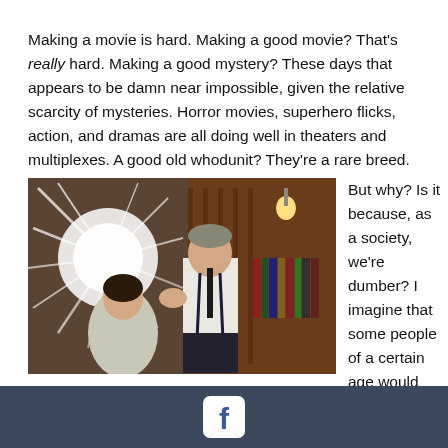Making a movie is hard. Making a good movie? That's really hard. Making a good mystery? These days that appears to be damn near impossible, given the relative scarcity of mysteries. Horror movies, superhero flicks, action, and dramas are all doing well in theaters and multiplexes. A good old whodunit? They're a rare breed.
[Figure (photo): Movie still showing two actors in what appears to be a library or study. On the left is a young woman in a grey jacket looking concerned. On the right is a tall man in white shirt with suspenders gesturing with his hand, with a shattered mirror or glass explosion effect visible behind them.]
But why? Is it because, as a society, we're dumber? I imagine that some people of a certain age would sneeringly point to Millennials and the rise of social media and claim their